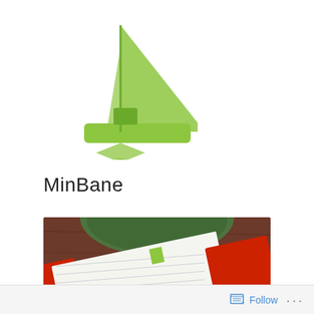[Figure (logo): MinBane logo: a green sailboat illustration with a triangular sail and hull, with a small green speech/arrow element beneath]
MinBane
[Figure (photo): Photo of an open lined notebook with a red cover on a wooden table, with a green cup partially visible at the top]
Mzee continues to struggle
with the Media: Mzee...